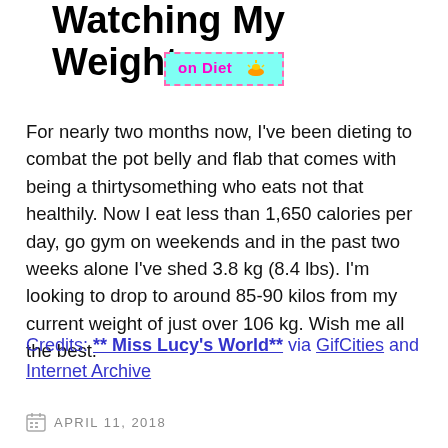Watching My Weight
[Figure (illustration): A pixel-art web badge with cyan background and pink dashed border reading 'on Diet' with a small sunrise/cookie emoji graphic]
For nearly two months now, I've been dieting to combat the pot belly and flab that comes with being a thirtysomething who eats not that healthily. Now I eat less than 1,650 calories per day, go gym on weekends and in the past two weeks alone I've shed 3.8 kg (8.4 lbs). I'm looking to drop to around 85-90 kilos from my current weight of just over 106 kg. Wish me all the best.
Credits: ** Miss Lucy's World** via GifCities and Internet Archive
APRIL 11, 2018